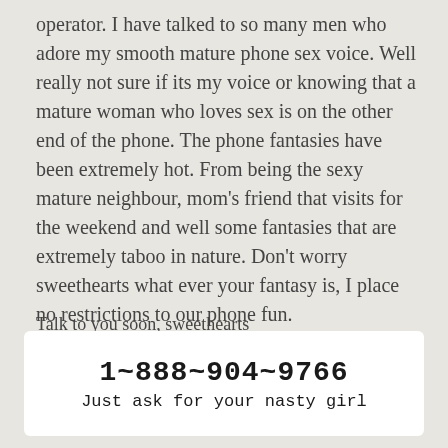operator. I have talked to so many men who adore my smooth mature phone sex voice. Well really not sure if its my voice or knowing that a mature woman who loves sex is on the other end of the phone. The phone fantasies have been extremely hot. From being the sexy mature neighbour, mom's friend that visits for the weekend and well some fantasies that are extremely taboo in nature. Don't worry sweethearts what ever your fantasy is, I place no restrictions to our phone fun.
Talk to you soon, sweethearts
Porscha
1~888~904~9766
Just ask for your nasty girl